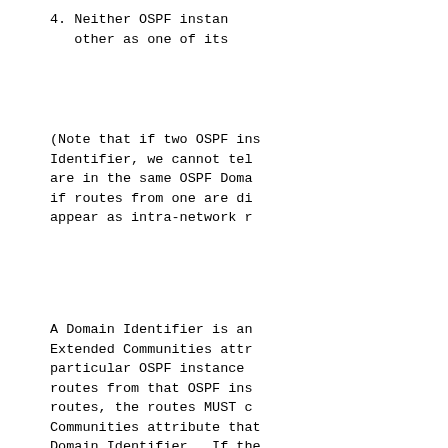4. Neither OSPF instance considers the other as one of its
(Note that if two OSPF instances have the same Domain Identifier, we cannot tell whether they are in the same OSPF Domain or not; but if routes from one are distributed into the other they appear as intra-network routes)
A Domain Identifier is an attribute carried in the Extended Communities attribute. It indicates that a particular OSPF instance has a certain identity; routes from that OSPF instance, when redistributed as routes, the routes MUST carry an Extended Communities attribute that contains the appropriate Domain Identifier. If the routes do not carry the Domain Identifier Extended Communities attribute when routes from that OSPF instance are redistributed; alternatively, a value of 0 in this attribute that represents